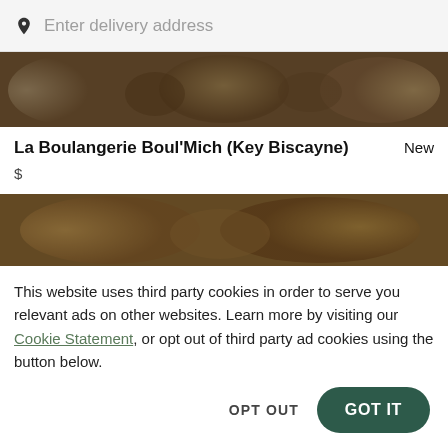Enter delivery address
[Figure (photo): Food photo showing various dishes in bowls viewed from above, darkened overlay]
La Boulangerie Boul'Mich (Key Biscayne)
New
$
[Figure (photo): Food photo showing pasta and other dishes viewed from above, darkened overlay]
This website uses third party cookies in order to serve you relevant ads on other websites. Learn more by visiting our Cookie Statement, or opt out of third party ad cookies using the button below.
OPT OUT
GOT IT